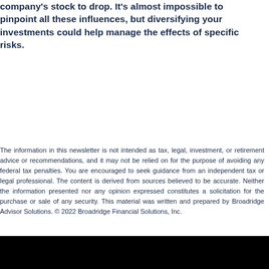company's stock to drop. It's almost impossible to pinpoint all these influences, but diversifying your investments could help manage the effects of specific risks.
The information in this newsletter is not intended as tax, legal, investment, or retirement advice or recommendations, and it may not be relied on for the purpose of avoiding any federal tax penalties. You are encouraged to seek guidance from an independent tax or legal professional. The content is derived from sources believed to be accurate. Neither the information presented nor any opinion expressed constitutes a solicitation for the purchase or sale of any security. This material was written and prepared by Broadridge Advisor Solutions. © 2022 Broadridge Financial Solutions, Inc.